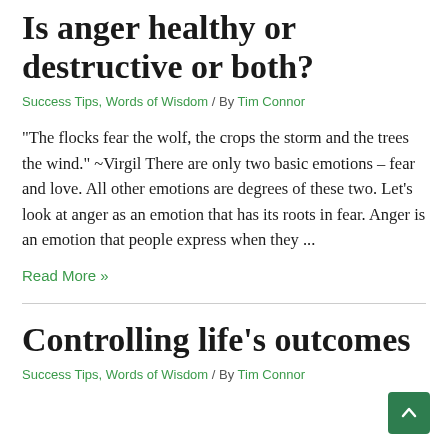Is anger healthy or destructive or both?
Success Tips, Words of Wisdom / By Tim Connor
“The flocks fear the wolf, the crops the storm and the trees the wind.” ~Virgil There are only two basic emotions – fear and love. All other emotions are degrees of these two. Let’s look at anger as an emotion that has its roots in fear. Anger is an emotion that people express when they ...
Read More »
Controlling life’s outcomes
Success Tips, Words of Wisdom / By Tim Connor